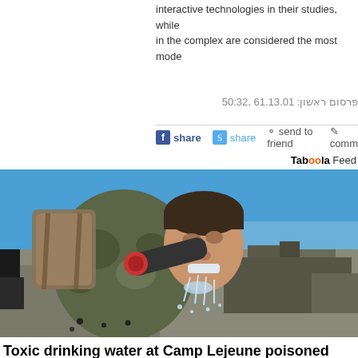interactive technologies in their studies, while in the complex are considered the most mode
פרסום ראשון: 10.31.16 ,23:05
share  share  send to friend  comm
Taboola Feed
[Figure (photo): A soldier in camouflage uniform drinking water from a hose outdoors near a body of water on a sunny day]
Toxic drinking water at Camp Lejeune poisoned